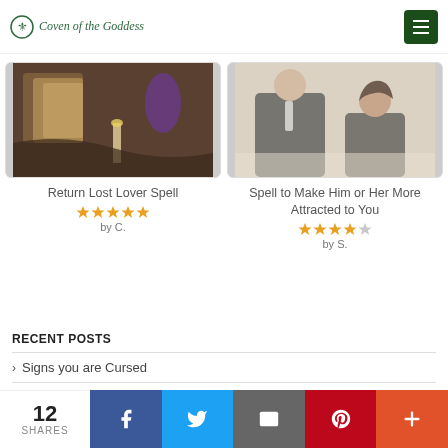Coven of the Goddess
[Figure (photo): Tarot cards and candles on a dark mystical background]
Return Lost Lover Spell
★★★★★ by C.
[Figure (photo): A couple at a restaurant, man in suit and woman laughing]
Spell to Make Him or Her More Attracted to You
★★★★☆ by S.
RECENT POSTS
Signs you are Cursed
What is Karma?
12 SHARES  Facebook  Twitter  Email  Pinterest  More